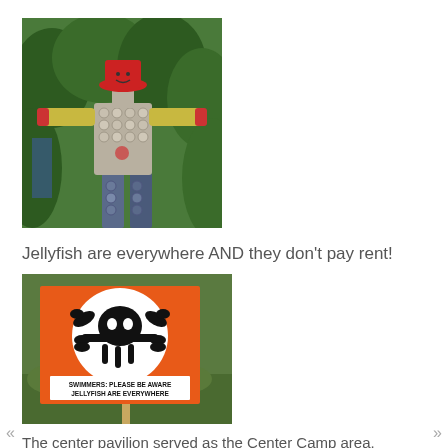[Figure (photo): A figure made of bottle caps/coins wearing a red hat, standing outdoors with green foliage in the background]
Jellyfish are everywhere AND they don't pay rent!
[Figure (photo): An orange warning sign on a wooden stake in a grassy area. The sign shows a jellyfish skull-and-crossbones symbol and reads: SWIMMERS: PLEASE BE AWARE JELLYFISH ARE EVERYWHERE]
The center pavilion served as the Center Camp area. Underneath you could stop by TITS (Transformus